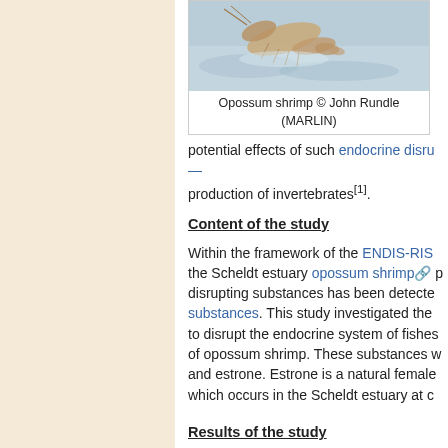[Figure (photo): Photograph of an opossum shrimp swimming, with blurred water background. Partially cropped at right edge.]
Opossum shrimp © John Rundle (MARLIN)
potential effects of such endocrine disru... production of invertebrates[1].
Content of the study
Within the framework of the ENDIS-RIS... the Scheldt estuary opossum shrimp p... disrupting substances has been detecte... substances. This study investigated the ... to disrupt the endocrine system of fishes... of opossum shrimp. These substances w... and estrone. Estrone is a natural female ... which occurs in the Scheldt estuary at c...
Results of the study